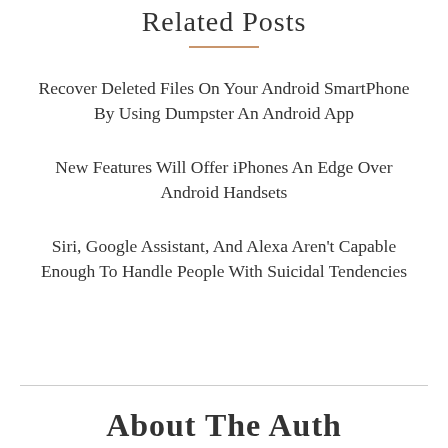Related Posts
Recover Deleted Files On Your Android SmartPhone By Using Dumpster An Android App
New Features Will Offer iPhones An Edge Over Android Handsets
Siri, Google Assistant, And Alexa Aren't Capable Enough To Handle People With Suicidal Tendencies
About The Auth